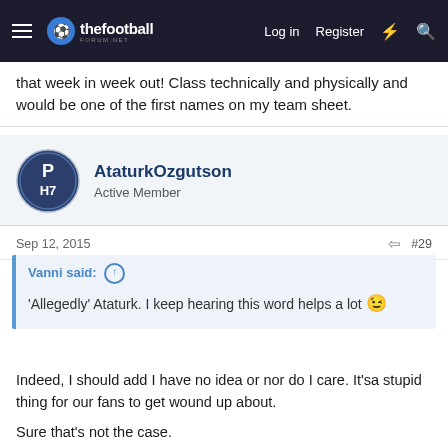thefootballforum.net — Log in | Register
that week in week out! Class technically and physically and would be one of the first names on my team sheet.
AtaturkOzgutson
Active Member
Sep 12, 2015  #29
Vanni said: ↑
'Allegedly' Ataturk. I keep hearing this word helps a lot 😉
Indeed, I should add I have no idea or nor do I care. It'sa stupid thing for our fans to get wound up about.
Sure that's not the case.